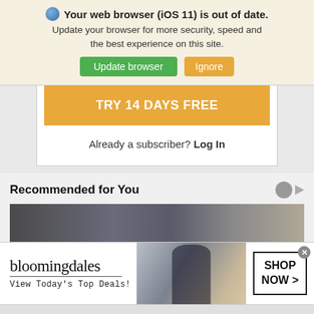Your web browser (iOS 11) is out of date. Update your browser for more security, speed and the best experience on this site.
Update browser | Ignore
TRY 14 DAYS FREE
Already a subscriber? Log In
Recommended for You
[Figure (screenshot): Partial image strip in recommended section]
[Figure (screenshot): Bloomingdales advertisement banner with logo, tagline 'View Today's Top Deals!', model photo, and 'SHOP NOW >' button]